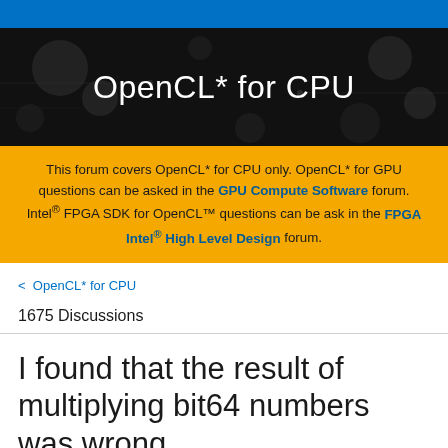[Figure (other): Blue Intel header bar]
OpenCL* for CPU
This forum covers OpenCL* for CPU only. OpenCL* for GPU questions can be asked in the GPU Compute Software forum. Intel® FPGA SDK for OpenCL™ questions can be ask in the FPGA Intel® High Level Design forum.
< OpenCL* for CPU
1675 Discussions
I found that the result of multiplying bit64 numbers was wrong.